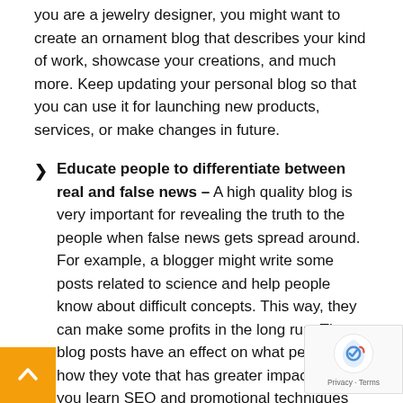you are a jewelry designer, you might want to create an ornament blog that describes your kind of work, showcase your creations, and much more. Keep updating your personal blog so that you can use it for launching new products, services, or make changes in future.
Educate people to differentiate between real and false news – A high quality blog is very important for revealing the truth to the people when false news gets spread around. For example, a blogger might write some posts related to science and help people know about difficult concepts. This way, they can make some profits in the long run. These blog posts have an effect on what people eat, how they vote that has greater impact when you learn SEO and promotional techniques for getting critical thinking skills and fo... in front of other people.
Bring people together – Rather than forming more "left"